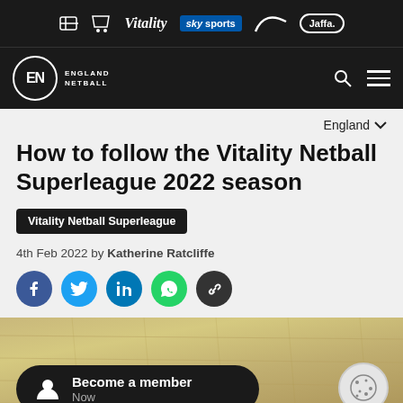Sponsor bar: Vitality, sky sports, Nike, Jaffa
England Netball navigation bar
England
How to follow the Vitality Netball Superleague 2022 season
Vitality Netball Superleague
4th Feb 2022 by Katherine Ratcliffe
[Figure (screenshot): Social share buttons: Facebook, Twitter, LinkedIn, WhatsApp, Link]
[Figure (photo): Netball court wooden floor with player in background, Become a member banner and cookie consent button]